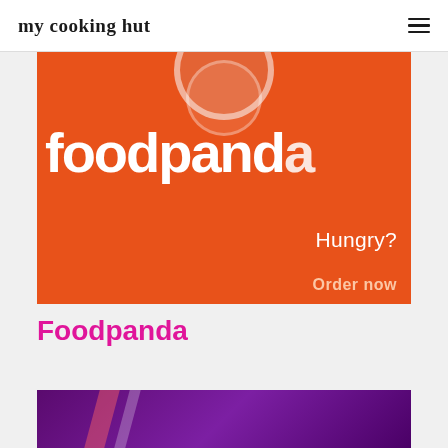my cooking hut
[Figure (photo): Foodpanda orange branded image showing the foodpanda logo and text 'Hungry?' on an orange background]
Foodpanda
[Figure (photo): Partial image with dark purple/magenta background with diagonal striped elements]